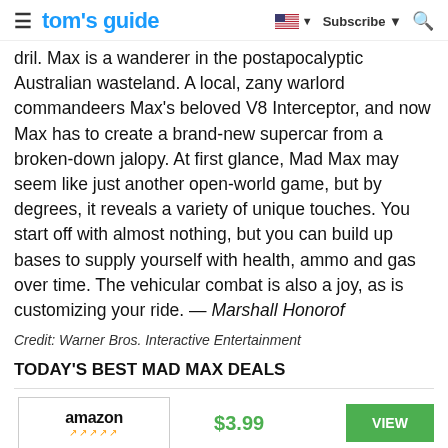tom's guide | Subscribe
dril. Max is a wanderer in the postapocalyptic Australian wasteland. A local, zany warlord commandeers Max's beloved V8 Interceptor, and now Max has to create a brand-new supercar from a broken-down jalopy. At first glance, Mad Max may seem like just another open-world game, but by degrees, it reveals a variety of unique touches. You start off with almost nothing, but you can build up bases to supply yourself with health, ammo and gas over time. The vehicular combat is also a joy, as is customizing your ride. — Marshall Honorof
Credit: Warner Bros. Interactive Entertainment
TODAY'S BEST MAD MAX DEALS
| Retailer | Price | Action |
| --- | --- | --- |
| amazon | $3.99 | VIEW |
| GameStop | $19.99 | VIEW |